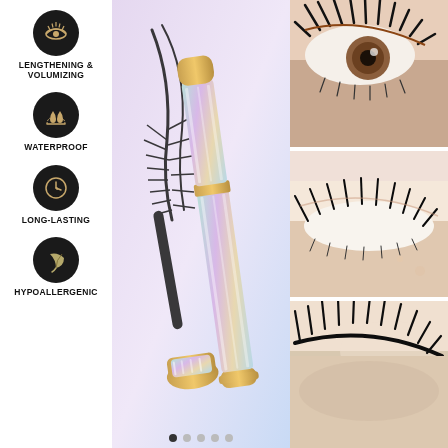[Figure (infographic): Product infographic for mascara showing features: Lengthening & Volumizing (eyelash icon), Waterproof (water drop icon), Long-Lasting (clock icon), Hypoallergenic (leaf icon) in black circles on left column; center shows mascara product with glitter/holographic tube and brush; right column shows three close-up eye photos demonstrating lash effects; bottom has pagination dots.]